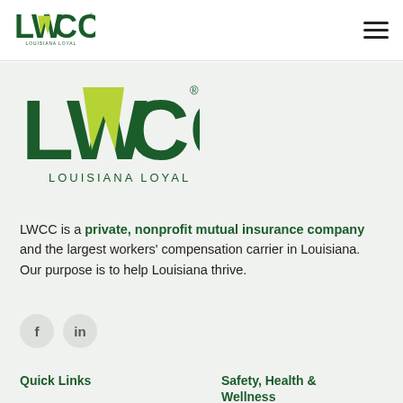LWCC LOUISIANA LOYAL
[Figure (logo): LWCC Louisiana Loyal logo - large version in body]
LWCC is a private, nonprofit mutual insurance company and the largest workers' compensation carrier in Louisiana. Our purpose is to help Louisiana thrive.
[Figure (other): Social media icons: Facebook (f) and LinkedIn (in) circular grey buttons]
Quick Links
Login to LWCC Interactive
Safety, Health & Wellness
Safety, Health & Wellness